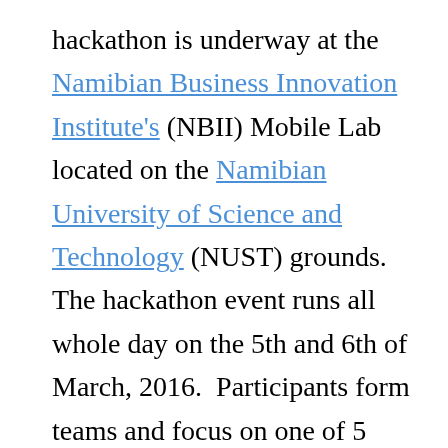hackathon is underway at the Namibian Business Innovation Institute's (NBII) Mobile Lab located on the Namibian University of Science and Technology (NUST) grounds. The hackathon event runs all whole day on the 5th and 6th of March, 2016.  Participants form teams and focus on one of 5 areas of public service delivery to create software enabled solutions to them. Follow up prototype presentations are to be held at 5:30pm at the same venue on Thursday, 10th